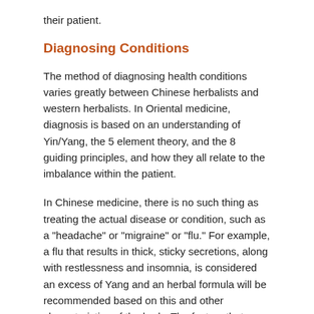their patient.
Diagnosing Conditions
The method of diagnosing health conditions varies greatly between Chinese herbalists and western herbalists.  In Oriental medicine, diagnosis is based on an understanding of Yin/Yang, the 5 element theory, and the 8 guiding principles, and how they all relate to the imbalance within the patient.
In Chinese medicine, there is no such thing as treating the actual disease or condition, such as a "headache" or "migraine" or "flu."  For example, a flu that results in thick, sticky secretions, along with restlessness and insomnia, is considered an excess of Yang and an herbal formula will be recommended based on this and other characteristics of the body. The factors that created the imbalance within the body are identified and brought back into harmony.  A migraine headache in one person may be treated very differently to the migraine headache in another, depending on different characteristics.
As with other forms of Chinese medicine, diagnosis is carried out by listening to the pulse of the blood vessels, observing the body, and asking questions of their patient.